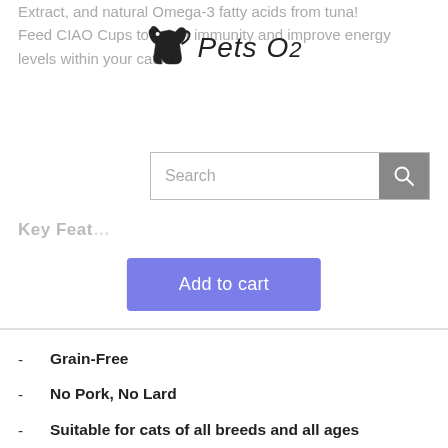Extract, and natural Omega-3 fatty acids from tuna! Feed CIAO Cups to boost immunity and improve energy levels within your cats.
[Figure (logo): Pets O2 logo with dog silhouette and stylized text]
[Figure (screenshot): Search bar with search icon button]
Key Features
[Figure (other): Add to cart button (blue/purple)]
Grain-Free
No Pork, No Lard
Suitable for cats of all breeds and all ages
Contains Vitamin E to boost and support immune system
Fortified with Green Tea Extract, providing oral